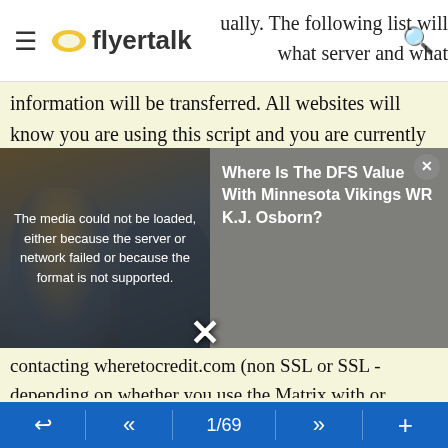flyertalk
ually. The following list will what server and what information will be transferred. All websites will know you are using this script and you are currently using the Matrix - what
[Figure (screenshot): Video player overlay showing a football player image on the left, a video error message box reading 'The media could not be loaded, either because the server or network failed or because the format is not supported.' on a dark background, and an ad title overlay reading 'Where Is The DFS Value With Minnesota Vikings WR K.J. Osborn?' on the right side. A white X dismiss button is visible in the center-bottom area.]
contacting wheretocredit.com (non SSL or SSL - depending on whether you use the Matrix with or without SSL) providing full itinerary
Skimlinks affiliate links - loads a js script to adds affiliate ids to some links if and only if the "Support this tool" setting is enabled. If it is disabled, no external scripts are
1/69